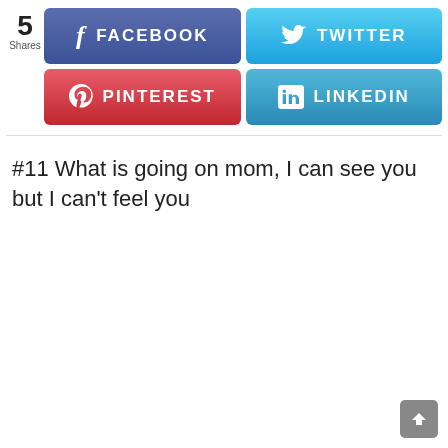[Figure (infographic): Social share bar with 5 Shares count, Facebook (blue), Twitter (light blue), Pinterest (red), LinkedIn (blue) buttons]
#11 What is going on mom, I can see you but I can't feel you